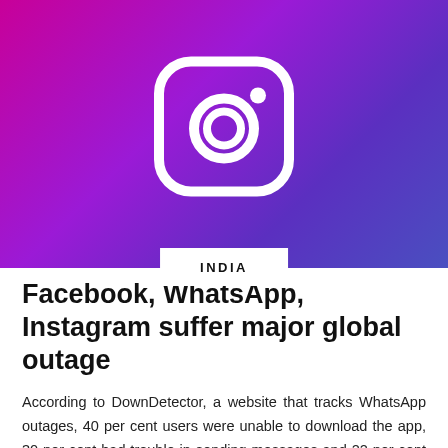[Figure (illustration): Instagram logo (white camera icon on gradient purple-to-magenta background) with a white tag overlay at the bottom center reading INDIA]
Facebook, WhatsApp, Instagram suffer major global outage
According to DownDetector, a website that tracks WhatsApp outages, 40 per cent users were unable to download the app, 30 per cent had trouble in sending messages and 22 per cent had problems with the web version.